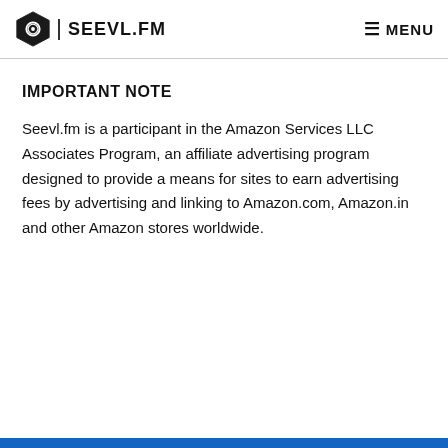SEEVL.FM   MENU
IMPORTANT NOTE
Seevl.fm is a participant in the Amazon Services LLC Associates Program, an affiliate advertising program designed to provide a means for sites to earn advertising fees by advertising and linking to Amazon.com, Amazon.in and other Amazon stores worldwide.